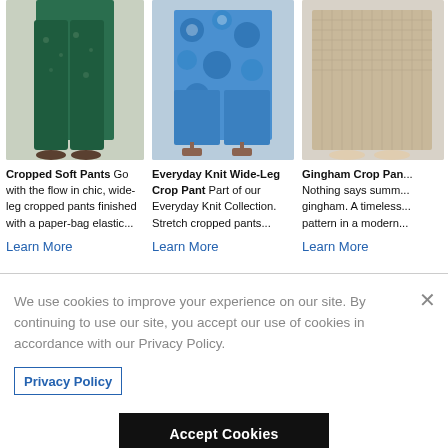[Figure (photo): Cropped soft pants product photo - dark teal/green patterned wide-leg pants with sandals]
Cropped Soft Pants Go with the flow in chic, wide-leg cropped pants finished with a paper-bag elastic...
Learn More
[Figure (photo): Everyday Knit Wide-Leg Crop Pant product photo - blue floral patterned pants with heeled sandals]
Everyday Knit Wide-Leg Crop Pant Part of our Everyday Knit Collection. Stretch cropped pants...
Learn More
[Figure (photo): Gingham Crop Pant product photo - beige/tan textured wide-leg pants with sandals]
Gingham Crop Pan... Nothing says summ... gingham. A timeless... pattern in a modern...
Learn More
We use cookies to improve your experience on our site. By continuing to use our site, you accept our use of cookies in accordance with our Privacy Policy.
Privacy Policy
Accept Cookies